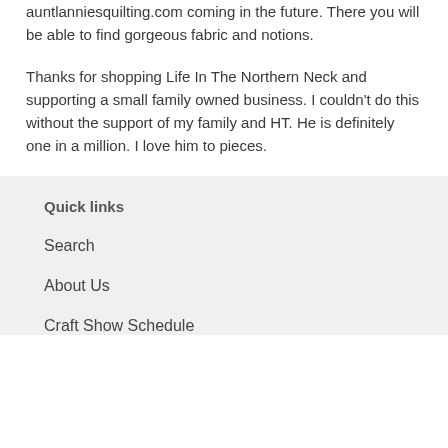auntlanniesquilting.com coming in the future. There you will be able to find gorgeous fabric and notions.
Thanks for shopping Life In The Northern Neck and supporting a small family owned business. I couldn't do this without the support of my family and HT. He is definitely one in a million. I love him to pieces.
Quick links
Search
About Us
Craft Show Schedule